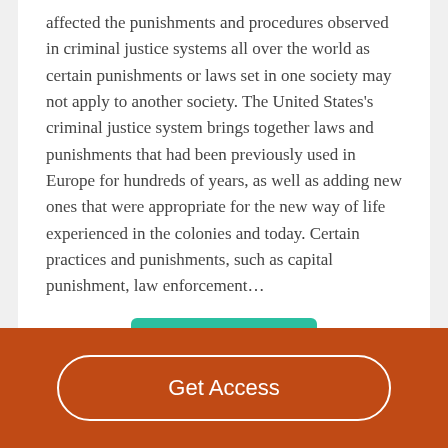affected the punishments and procedures observed in criminal justice systems all over the world as certain punishments or laws set in one society may not apply to another society. The United States's criminal justice system brings together laws and punishments that had been previously used in Europe for hundreds of years, as well as adding new ones that were appropriate for the new way of life experienced in the colonies and today. Certain practices and punishments, such as capital punishment, law enforcement…
Read More
Get Access